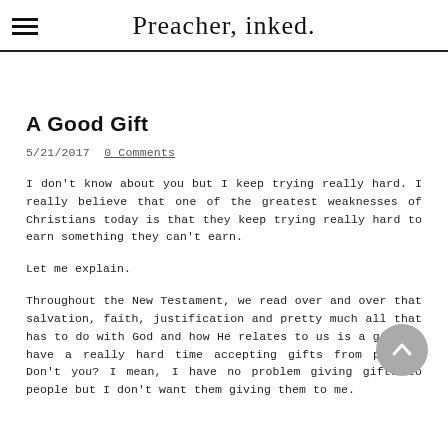Preacher, inked.
A Good Gift
5/21/2017  0 Comments
I don't know about you but I keep trying really hard. I really believe that one of the greatest weaknesses of Christians today is that they keep trying really hard to earn something they can't earn.
Let me explain.
Throughout the New Testament, we read over and over that salvation, faith, justification and pretty much all that has to do with God and how He relates to us is a gift. I have a really hard time accepting gifts from people. Don't you? I mean, I have no problem giving gifts to people but I don't want them giving them to me.